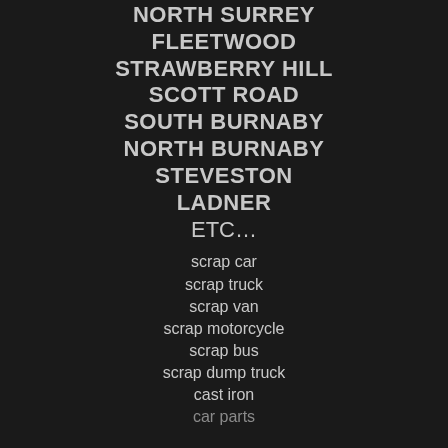NORTH SURREY
FLEETWOOD
STRAWBERRY HILL
SCOTT ROAD
SOUTH BURNABY
NORTH BURNABY
STEVESTON
LADNER
ETC…
scrap car
scrap truck
scrap van
scrap motorcycle
scrap bus
scrap dump truck
cast iron
car parts